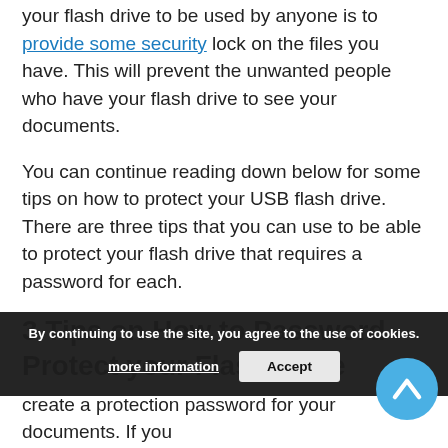your flash drive to be used by anyone is to provide some security lock on the files you have. This will prevent the unwanted people who have your flash drive to see your documents.
You can continue reading down below for some tips on how to protect your USB flash drive. There are three tips that you can use to be able to protect your flash drive that requires a password for each.
3 Tips on How to Password Protect your Flash Drive
Protection by individual files
There are several ways to protect your flash drive create a protection password for your documents. If you